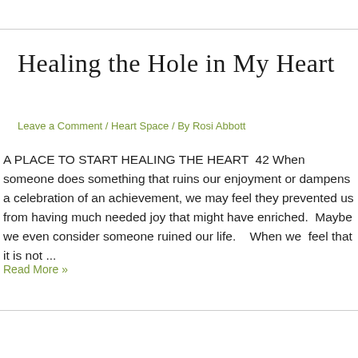Healing the Hole in My Heart
Leave a Comment / Heart Space / By Rosi Abbott
A PLACE TO START HEALING THE HEART  42 When someone does something that ruins our enjoyment or dampens a celebration of an achievement, we may feel they prevented us from having much needed joy that might have enriched.  Maybe we even consider someone ruined our life.   When we  feel that it is not ...
Read More »